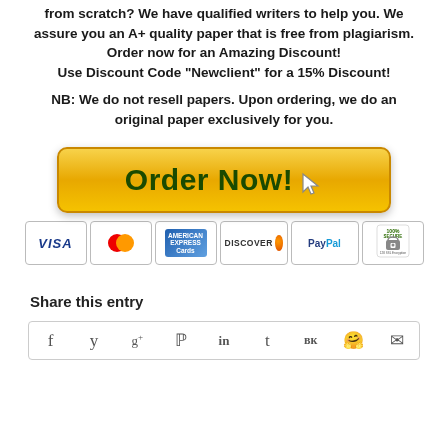from scratch? We have qualified writers to help you. We assure you an A+ quality paper that is free from plagiarism. Order now for an Amazing Discount! Use Discount Code "Newclient" for a 15% Discount!
NB: We do not resell papers. Upon ordering, we do an original paper exclusively for you.
[Figure (other): Orange/yellow gradient 'Order Now!' button with cursor icon, followed by payment method logos: Visa, MasterCard, American Express, Discover, PayPal, 100% Secure SSL Encryption]
Share this entry
[Figure (other): Social sharing icons row: Facebook (f), Twitter (y), Google+ (g+), Pinterest (p), LinkedIn (in), Tumblr (t), VK (vk), Reddit, Email]